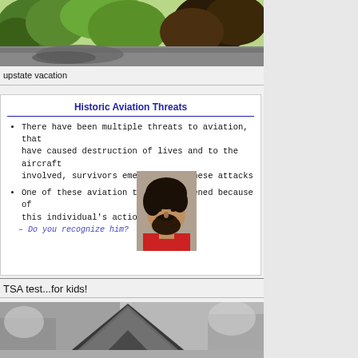[Figure (photo): Outdoor photo of a tree-lined road or path with green vegetation and bushes]
upstate vacation
Historic Aviation Threats
There have been multiple threats to aviation, that have caused destruction of lives and to the aircraft involved, survivors emerged from these attacks
One of these aviation threats happened because of this individual’s actions
– Do you recognize him?
[Figure (photo): Mugshot-style photo of a middle-aged man with dark disheveled hair and a beard, wearing a red shirt]
TSA test...for kids!
[Figure (photo): Black and white photo showing the roof of a cabin or house structure]